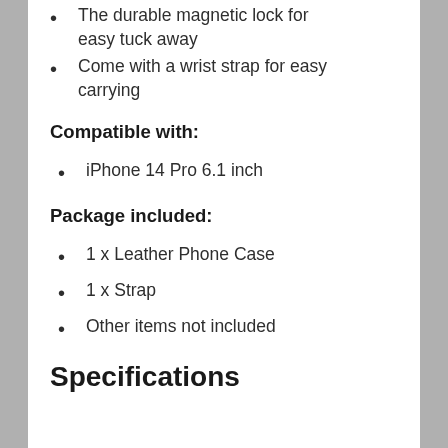The durable magnetic lock for easy tuck away
Come with a wrist strap for easy carrying
Compatible with:
iPhone 14 Pro 6.1 inch
Package included:
1 x Leather Phone Case
1 x Strap
Other items not included
Specifications